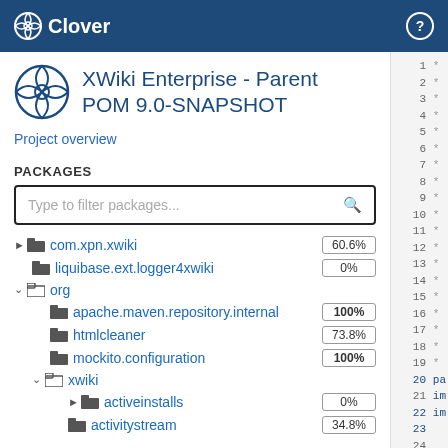Clover
XWiki Enterprise - Parent POM 9.0-SNAPSHOT
Project overview
PACKAGES
Type to filter packages...
com.xpn.xwiki 60.6%
liquibase.ext.logger4xwiki 0%
org
apache.maven.repository.internal 100%
htmlcleaner 73.8%
mockito.configuration 100%
xwiki
activeinstalls 0%
activitystream 34.8%